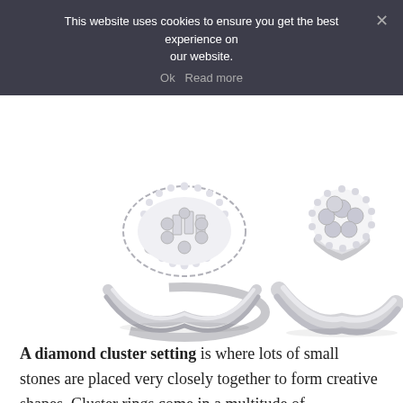This website uses cookies to ensure you get the best experience on our website.
Ok   Read more
[Figure (photo): Two diamond cluster rings on a white background. Left ring features a marquise-shaped cluster with baguette and round diamonds. Right ring features a round cluster setting with pavé diamonds, both in white gold or platinum.]
A diamond cluster setting is where lots of small stones are placed very closely together to form creative shapes. Cluster rings come in a multitude of